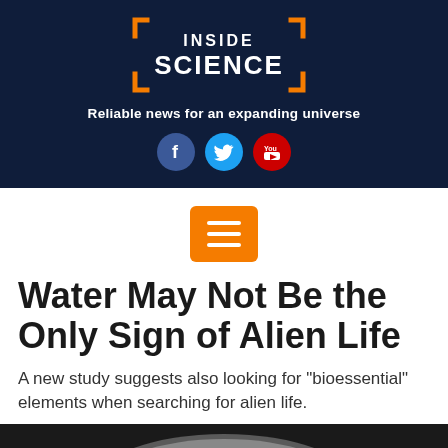[Figure (logo): Inside Science logo — white text on dark navy background with orange bracket corner decorations]
Reliable news for an expanding universe
[Figure (illustration): Social media icons: Facebook (blue circle), Twitter (light blue circle), YouTube (red circle)]
[Figure (other): Orange hamburger menu button with three white horizontal lines]
Water May Not Be the Only Sign of Alien Life
A new study suggests also looking for "bioessential" elements when searching for alien life.
[Figure (photo): Partial image of a moon or planetary body at bottom of page, dark background]